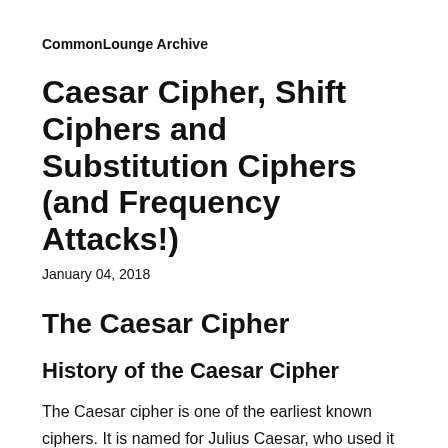CommonLounge Archive
Caesar Cipher, Shift Ciphers and Substitution Ciphers (and Frequency Attacks!)
January 04, 2018
The Caesar Cipher
History of the Caesar Cipher
The Caesar cipher is one of the earliest known ciphers. It is named for Julius Caesar, who used it to encrypt messages of military importance that he did